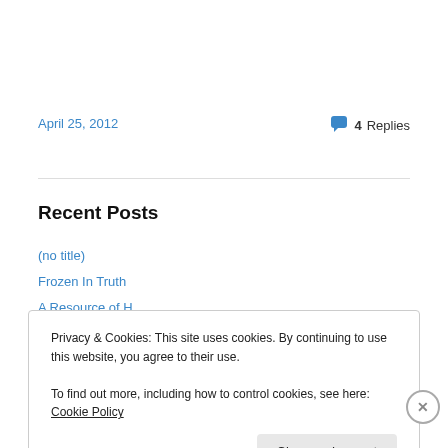April 25, 2012
4 Replies
Recent Posts
(no title)
Frozen In Truth
A Resource of H...
Privacy & Cookies: This site uses cookies. By continuing to use this website, you agree to their use.
To find out more, including how to control cookies, see here: Cookie Policy
Close and accept